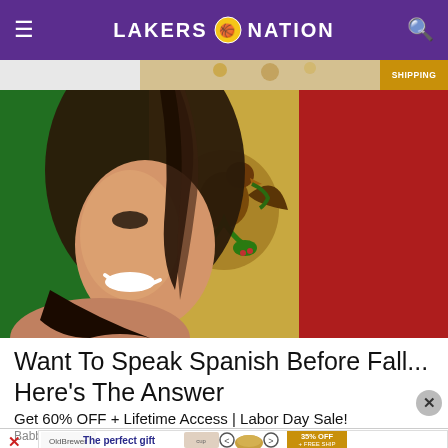LAKERS NATION
[Figure (photo): Smiling woman with flowing hair overlaid on Mexican flag with green, white, and red sections and golden eagle emblem]
Want To Speak Spanish Before Fall... Here's The Answer
Get 60% OFF + Lifetime Access | Labor Day Sale!
Babbel | Sponsored
[Figure (photo): Bottom advertisement banner: The perfect gift - 35% OFF + FREE SHIPPING with food product imagery]